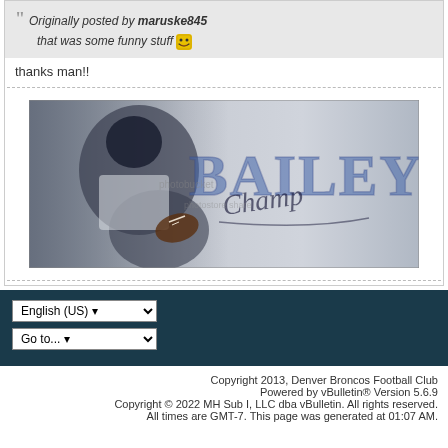Originally posted by maruske845 — that was some funny stuff
thanks man!!
[Figure (photo): Sports fan signature image showing a Denver Broncos football player (Champ Bailey) in white jersey carrying a football, with large letters 'BAILEY' in orange/blue behind him and a cursive signature overlay. Watermark text visible.]
Copyright 2013, Denver Broncos Football Club
Powered by vBulletin® Version 5.6.9
Copyright © 2022 MH Sub I, LLC dba vBulletin. All rights reserved.
All times are GMT-7. This page was generated at 01:07 AM.